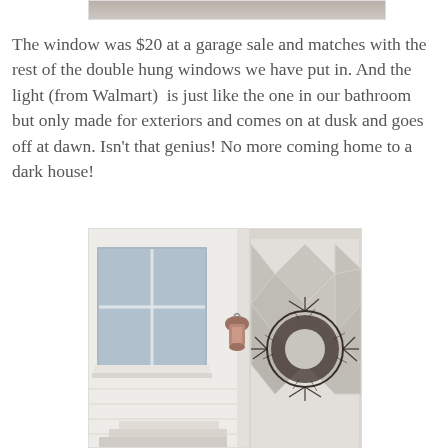[Figure (photo): Top portion of a photo showing a house exterior, cropped at top of page]
The window was $20 at a garage sale and matches with the rest of the double hung windows we have put in. And the light (from Walmart)  is just like the one in our bathroom but only made for exteriors and comes on at dusk and goes off at dawn. Isn't that genius! No more coming home to a dark house!
[Figure (photo): Exterior photo of a house showing a double hung window on the left side and a decorative diamond-patterned front door with a wreath on the right side. A lantern-style light fixture is mounted between them on white siding.]